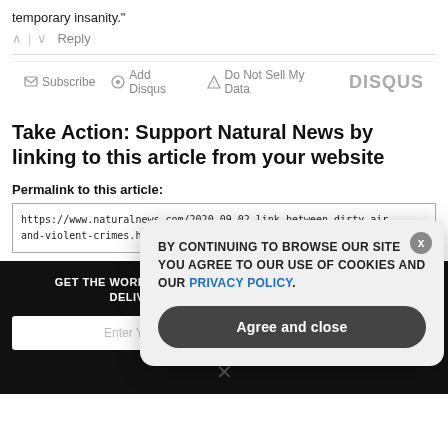temporary insanity."
^ | v   Reply
✉ Subscribe   ⊙ Add Disqus   ⚠ Do Not Sell My Data   DISQUS
Take Action: Support Natural News by linking to this article from your website
Permalink to this article:
https://www.naturalnews.com/2020-09-02-link-between-dirty-air-and-violent-crimes.html
GET THE WORLD'S BEST NATURAL HEALTH NEWSLETTER DELIVERED STRAIGHT TO YOUR INBOX
Enter Your Email Address
SUBSCRIBE
[Figure (screenshot): Cookie consent modal overlay with text: BY CONTINUING TO BROWSE OUR SITE YOU AGREE TO OUR USE OF COOKIES AND OUR PRIVACY POLICY. Button: Agree and close. Close X button in top right.]